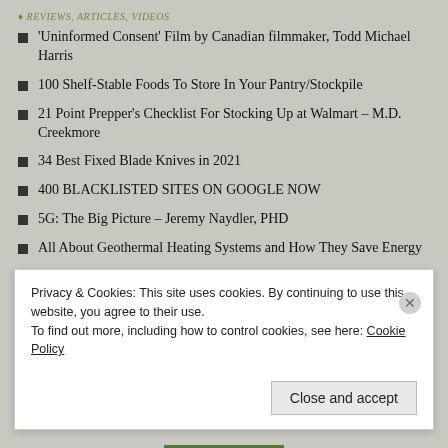REVIEWS, ARTICLES, VIDEOS
'Uninformed Consent' Film by Canadian filmmaker, Todd Michael Harris
100 Shelf-Stable Foods To Store In Your Pantry/Stockpile
21 Point Prepper's Checklist For Stocking Up at Walmart – M.D. Creekmore
34 Best Fixed Blade Knives in 2021
400 BLACKLISTED SITES ON GOOGLE NOW
5G: The Big Picture – Jeremy Naydler, PHD
All About Geothermal Heating Systems and How They Save Energy
All About the Bidens: Introducing Real Clear Investigations' Hunter Biden Reader
'UKRAINE ON FIRE' (2016) – DOCUMENTARY BY OLIVER STONE
Privacy & Cookies: This site uses cookies. By continuing to use this website, you agree to their use.
To find out more, including how to control cookies, see here: Cookie Policy
Close and accept